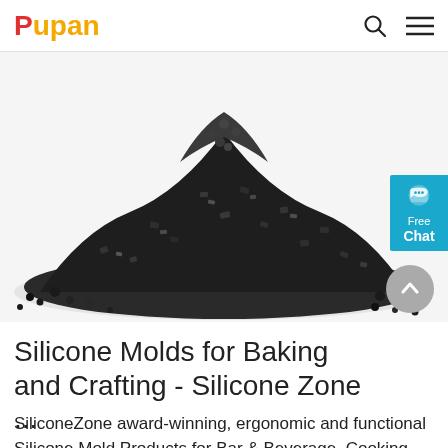Pupan
[Figure (photo): A pile of dark/black granular material (possibly carbon or crushed stone) on a white background, photographed from a slightly elevated angle showing a heap shape.]
Silicone Molds for Baking and Crafting - Silicone Zone ...
SiliconeZone award-winning, ergonomic and functional Silicone Mold Products for Bar & Beverage, Cooking, Baking and Kitchen